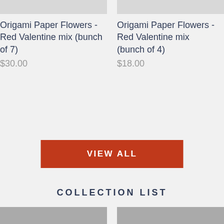[Figure (other): Product image placeholder (gray rectangle) for Origami Paper Flowers - Red Valentine mix (bunch of 7)]
Origami Paper Flowers - Red Valentine mix (bunch of 7)
$30.00
[Figure (other): Product image placeholder (gray rectangle) for Origami Paper Flowers - Red Valentine mix (bunch of 4)]
Origami Paper Flowers - Red Valentine mix (bunch of 4)
$18.00
VIEW ALL
COLLECTION LIST
[Figure (other): Collection list image placeholder (gray rectangle) left]
[Figure (other): Collection list image placeholder (gray rectangle) right]